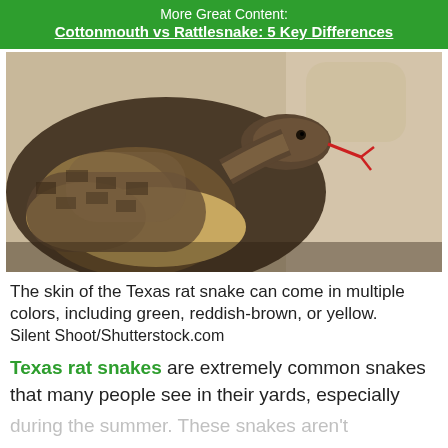More Great Content:
Cottonmouth vs Rattlesnake: 5 Key Differences
[Figure (photo): A Texas rat snake coiled on sandy ground, tongue extended, patterned brown and tan scales visible]
The skin of the Texas rat snake can come in multiple colors, including green, reddish-brown, or yellow.
Silent Shoot/Shutterstock.com
Texas rat snakes are extremely common snakes that many people see in their yards, especially during the summer. These snakes aren't